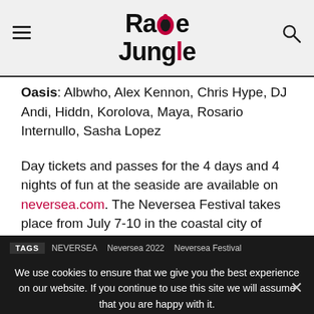Rave Jungle
Oasis: Albwho, Alex Kennon, Chris Hype, DJ Andi, Hiddn, Korolova, Maya, Rosario Internullo, Sasha Lopez
Day tickets and passes for the 4 days and 4 nights of fun at the seaside are available on neversea.com. The Neversea Festival takes place from July 7-10 in the coastal city of Constanța, Romania.
TAGS  NEVERSEA  Neversea 2022  Neversea Festival  Romania
We use cookies to ensure that we give you the best experience on our website. If you continue to use this site we will assume that you are happy with it.